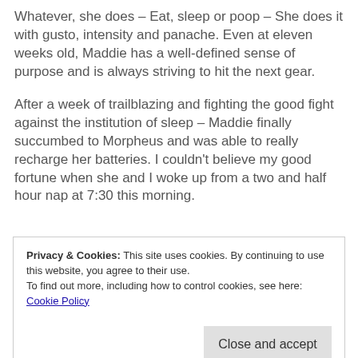Whatever, she does – Eat, sleep or poop – She does it with gusto, intensity and panache. Even at eleven weeks old, Maddie has a well-defined sense of purpose and is always striving to hit the next gear.
After a week of trailblazing and fighting the good fight against the institution of sleep – Maddie finally succumbed to Morpheus and was able to really recharge her batteries. I couldn't believe my good fortune when she and I woke up from a two and half hour nap at 7:30 this morning.
Privacy & Cookies: This site uses cookies. By continuing to use this website, you agree to their use. To find out more, including how to control cookies, see here: Cookie Policy
Close and accept